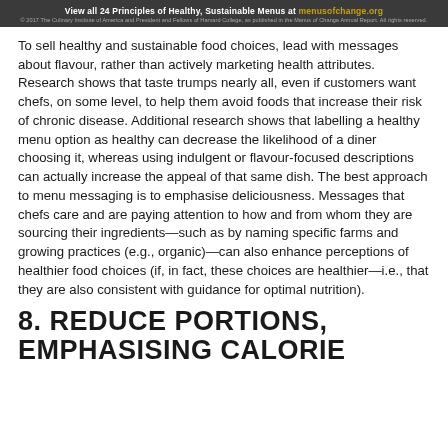View all 24 Principles of Healthy, Sustainable Menus at menusofchange.org © 2017 The Culinary Institute of America and President and Fellows of Harvard College, as published in the Menus of Change Annual Report. All rights reserved.
To sell healthy and sustainable food choices, lead with messages about flavour, rather than actively marketing health attributes. Research shows that taste trumps nearly all, even if customers want chefs, on some level, to help them avoid foods that increase their risk of chronic disease. Additional research shows that labelling a healthy menu option as healthy can decrease the likelihood of a diner choosing it, whereas using indulgent or flavour-focused descriptions can actually increase the appeal of that same dish. The best approach to menu messaging is to emphasise deliciousness. Messages that chefs care and are paying attention to how and from whom they are sourcing their ingredients—such as by naming specific farms and growing practices (e.g., organic)—can also enhance perceptions of healthier food choices (if, in fact, these choices are healthier—i.e., that they are also consistent with guidance for optimal nutrition).
8. REDUCE PORTIONS, EMPHASISING CALORIE